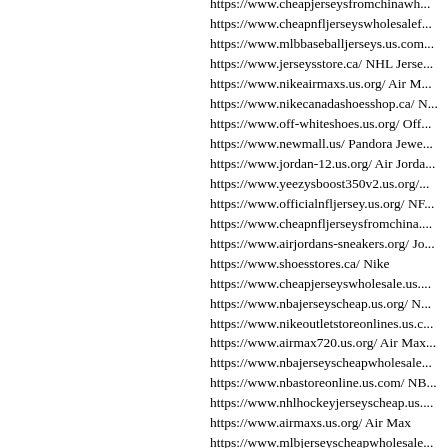https://www.cheapjerseysfromchinawh...
https://www.cheapnfljerseyswholesalef...
https://www.mlbbaseballjerseys.us.com...
https://www.jerseysstore.ca/ NHL Jerse...
https://www.nikeairmaxs.us.org/ Air M...
https://www.nikecanadashoesshop.ca/ N...
https://www.off-whiteshoes.us.org/ Off...
https://www.newmall.us/ Pandora Jewe...
https://www.jordan-12.us.org/ Air Jorda...
https://www.yeezysboost350v2.us.org/...
https://www.officialnfljersey.us.org/ NF...
https://www.cheapnfljerseysfromchina....
https://www.airjordans-sneakers.org/ Jo...
https://www.shoesstores.ca/ Nike
https://www.cheapjerseyswholesale.us....
https://www.nbajerseyscheap.us.org/ N...
https://www.nikeoutletstoreonlines.us.c...
https://www.airmax720.us.org/ Air Max...
https://www.nbajerseyscheapwholesale...
https://www.nbastoreonline.us.com/ NB...
https://www.nhlhockeyjerseyscheap.us....
https://www.airmaxs.us.org/ Air Max
https://www.mlbjerseyscheapwholesale...